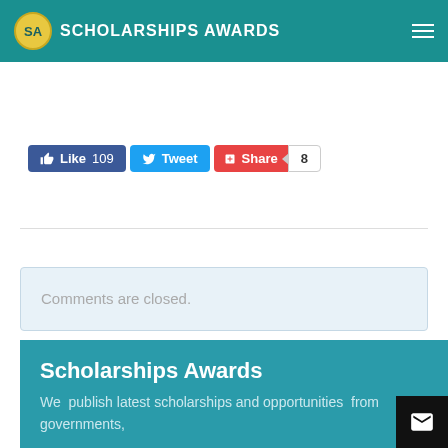SCHOLARSHIPS AWARDS
[Figure (screenshot): Social share buttons row: Like 109 (Facebook blue), Tweet (Twitter blue), Share (red Google+), and share count badge showing 8]
Comments are closed.
Scholarships Awards
We  publish latest scholarships and opportunities  from governments,